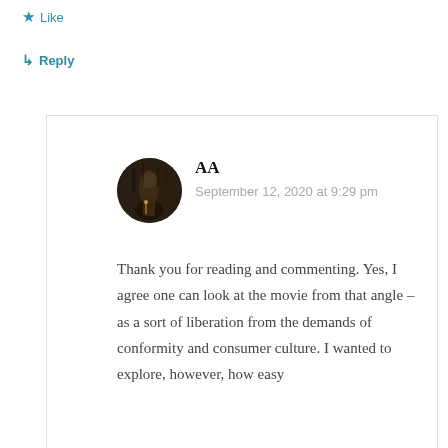★ Like
↳ Reply
AA
September 12, 2020 at 9:29 pm

Thank you for reading and commenting. Yes, I agree one can look at the movie from that angle – as a sort of liberation from the demands of conformity and consumer culture. I wanted to explore, however, how easy